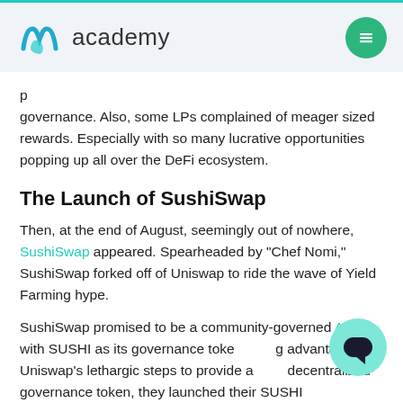academy
governance. Also, some LPs complained of meager sized rewards. Especially with so many lucrative opportunities popping up all over the DeFi ecosystem.
The Launch of SushiSwap
Then, at the end of August, seemingly out of nowhere, SushiSwap appeared. Spearheaded by "Chef Nomi," SushiSwap forked off of Uniswap to ride the wave of Yield Farming hype.
SushiSwap promised to be a community-governed AMM with SUSHI as its governance token, taking advantage of Uniswap's lethargic steps to provide a decentralized governance token, they launched their SUSHI token and divided it among governance token...